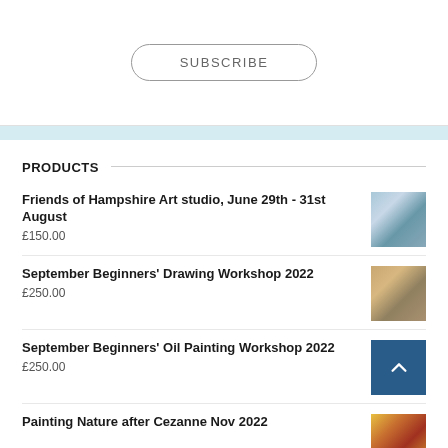SUBSCRIBE
PRODUCTS
Friends of Hampshire Art studio, June 29th - 31st August
£150.00
September Beginners' Drawing Workshop 2022
£250.00
September Beginners' Oil Painting Workshop 2022
£250.00
Painting Nature after Cezanne Nov 2022